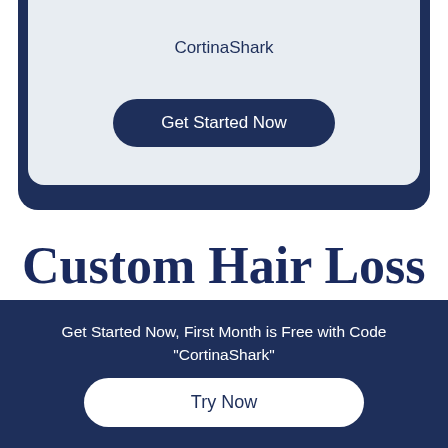CortinaShark
Get Started Now
Custom Hair Loss Treatment
[Figure (illustration): Teal decorative cursive/squiggle lines]
Get Started Now, First Month is Free with Code "CortinaShark"
Try Now